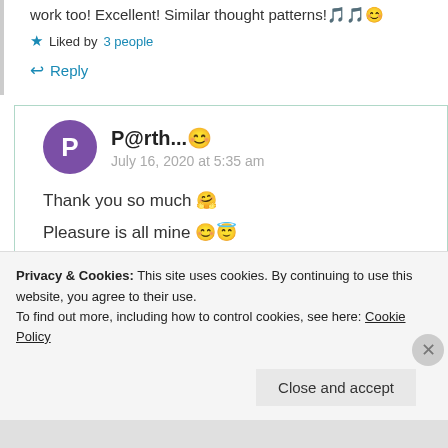work too! Excellent! Similar thought patterns!🎵🎵😊
★ Liked by 3 people
↩ Reply
P@rth...😊
July 16, 2020 at 5:35 am
Thank you so much 🤗
Pleasure is all mine 😊😇
Privacy & Cookies: This site uses cookies. By continuing to use this website, you agree to their use.
To find out more, including how to control cookies, see here: Cookie Policy
Close and accept